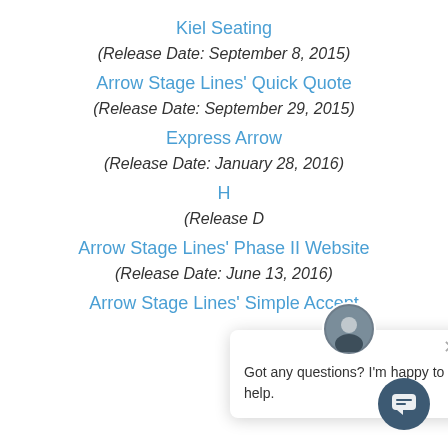Kiel Seating
(Release Date: September 8, 2015)
Arrow Stage Lines' Quick Quote
(Release Date: September 29, 2015)
Express Arrow
(Release Date: January 28, 2016)
H…
(Release D…
Arrow Stage Lines' Phase II Website
(Release Date: June 13, 2016)
Arrow Stage Lines' Simple Accept